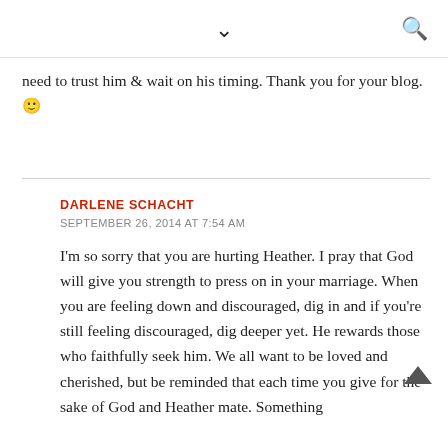▼  🔍
need to trust him & wait on his timing. Thank you for your blog. 🙂
DARLENE SCHACHT
SEPTEMBER 26, 2014 AT 7:54 AM
I'm so sorry that you are hurting Heather. I pray that God will give you strength to press on in your marriage. When you are feeling down and discouraged, dig in and if you're still feeling discouraged, dig deeper yet. He rewards those who faithfully seek him. We all want to be loved and cherished, but be reminded that each time you give for the sake of God and Heather mate. Something